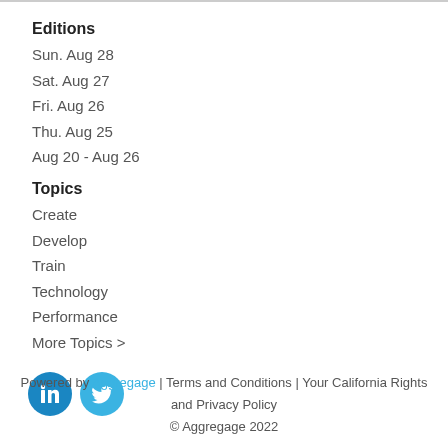Editions
Sun. Aug 28
Sat. Aug 27
Fri. Aug 26
Thu. Aug 25
Aug 20 - Aug 26
Topics
Create
Develop
Train
Technology
Performance
More Topics >
[Figure (logo): LinkedIn and Twitter social media icons (circular blue buttons)]
Powered by Aggregage | Terms and Conditions | Your California Rights and Privacy Policy © Aggregage 2022